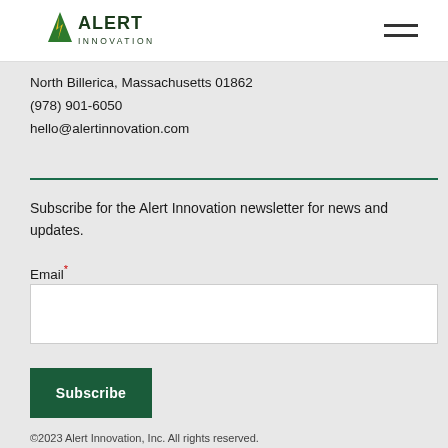[Figure (logo): Alert Innovation logo with green stylized 'A' icon and text 'ALERT INNOVATION']
North Billerica, Massachusetts 01862
(978) 901-6050
hello@alertinnovation.com
Subscribe for the Alert Innovation newsletter for news and updates.
Email*
Subscribe
©2023 Alert Innovation, Inc. All rights reserved.